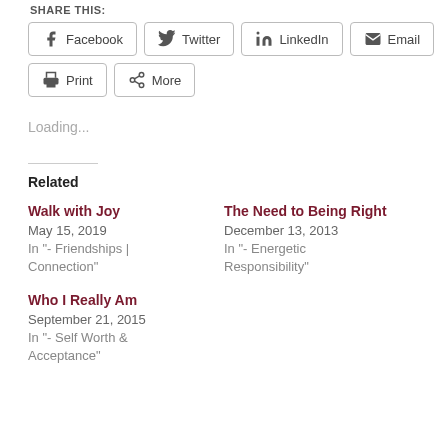SHARE THIS:
[Figure (screenshot): Social share buttons: Facebook, Twitter, LinkedIn, Email, Print, More]
Loading...
Related
Walk with Joy
May 15, 2019
In "- Friendships | Connection"
The Need to Being Right
December 13, 2013
In "- Energetic Responsibility"
Who I Really Am
September 21, 2015
In "- Self Worth & Acceptance"